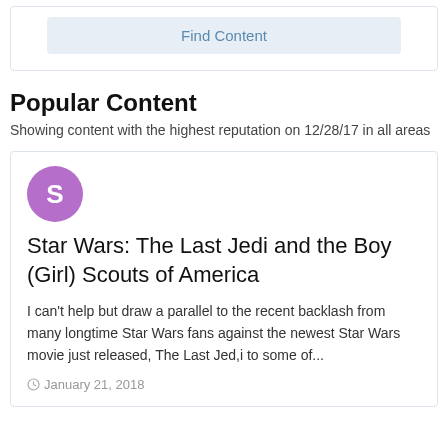Find Content
Popular Content
Showing content with the highest reputation on 12/28/17 in all areas
[Figure (illustration): Purple circle avatar with letter S]
Star Wars: The Last Jedi and the Boy (Girl) Scouts of America
I can't help but draw a parallel to the recent backlash from many longtime Star Wars fans against the newest Star Wars movie just released, The Last Jed,i to some of...
January 21, 2018